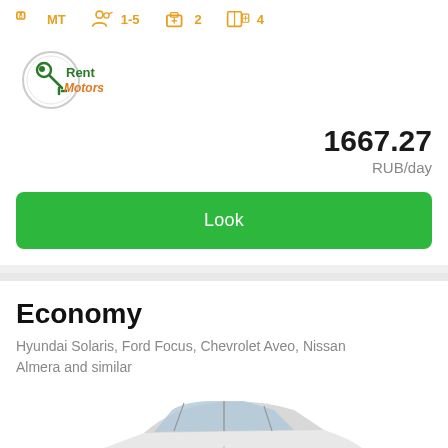[Figure (infographic): Car rental listing card with icons for transmission (MT), passengers (1-5), bags (2), and fuel/doors (4) in orange/yellow color]
[Figure (logo): Rent Motors logo - circular logo with a car key icon, 'Rent' in dark green and 'Motors' in orange text]
1667.27
RUB/day
Look
Economy
Hyundai Solaris, Ford Focus, Chevrolet Aveo, Nissan Almera and similar
[Figure (photo): White sedan car (Economy class) photographed from side/rear angle on white background]